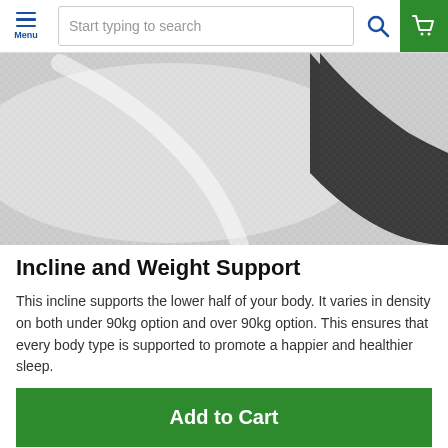Menu | Start typing to search
[Figure (photo): Close-up photo of a white textured fabric/mattress surface with a dark grey edge, suggesting a mattress or pillow product.]
Incline and Weight Support
This incline supports the lower half of your body. It varies in density on both under 90kg option and over 90kg option. This ensures that every body type is supported to promote a happier and healthier sleep.